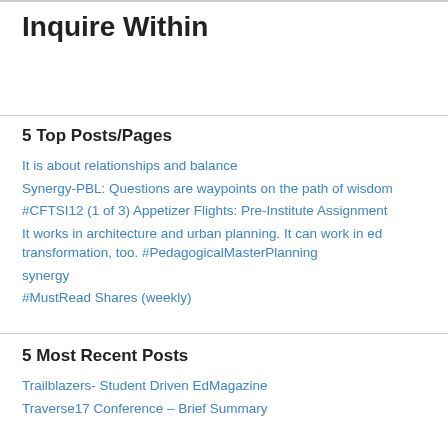Inquire Within
5 Top Posts/Pages
It is about relationships and balance
Synergy-PBL: Questions are waypoints on the path of wisdom
#CFTSI12 (1 of 3) Appetizer Flights: Pre-Institute Assignment
It works in architecture and urban planning. It can work in ed transformation, too. #PedagogicalMasterPlanning
synergy
#MustRead Shares (weekly)
5 Most Recent Posts
Trailblazers- Student Driven EdMagazine
Traverse17 Conference – Brief Summary